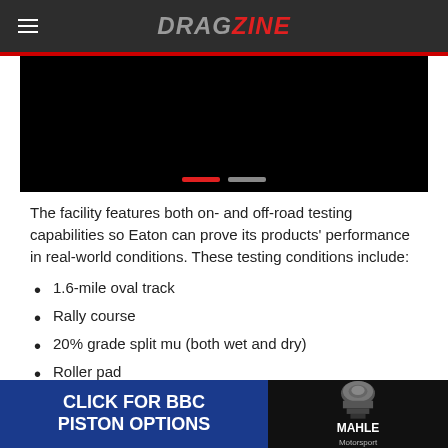DRAGZINE
[Figure (screenshot): Video player with black background and two navigation dots (red active, gray inactive) at the bottom]
The facility features both on- and off-road testing capabilities so Eaton can prove its products' performance in real-world conditions. These testing conditions include:
1.6-mile oval track
Rally course
20% grade split mu (both wet and dry)
Roller pad
[Figure (screenshot): Advertisement banner: 'CLICK FOR BBC PISTON OPTIONS' with MAHLE Motorsport logo and piston image]